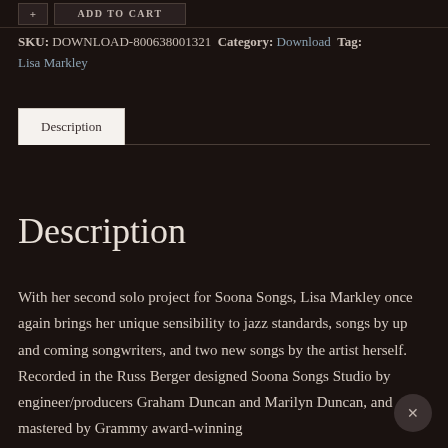SKU: DOWNLOAD-800638001321 Category: Download Tag: Lisa Markley
Description
Description
With her second solo project for Soona Songs, Lisa Markley once again brings her unique sensibility to jazz standards, songs by up and coming songwriters, and two new songs by the artist herself. Recorded in the Russ Berger designed Soona Songs Studio by engineer/producers Graham Duncan and Marilyn Duncan, and mastered by Grammy award-winning